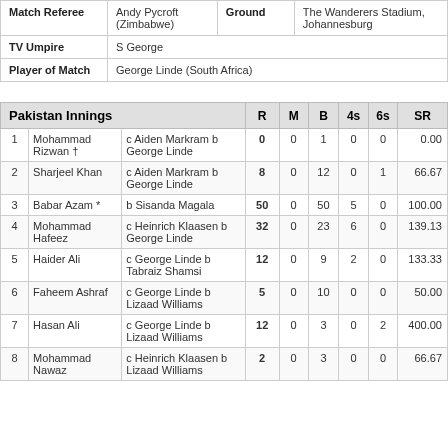|  |  | Ground |  |
| --- | --- | --- | --- |
| Match Referee | Andy Pycroft (Zimbabwe) | Ground | The Wanderers Stadium, Johannesburg |
| TV Umpire | S George |  |  |
| Player of Match | George Linde (South Africa) |  |  |
| Pakistan Innings |  |  | R | M | B | 4s | 6s | SR |
| --- | --- | --- | --- | --- | --- | --- | --- | --- |
| 1 | Mohammad Rizwan † | c Aiden Markram b George Linde | 0 | 0 | 1 | 0 | 0 | 0.00 |
| 2 | Sharjeel Khan | c Aiden Markram b George Linde | 8 | 0 | 12 | 0 | 1 | 66.67 |
| 3 | Babar Azam * | b Sisanda Magala | 50 | 0 | 50 | 5 | 0 | 100.00 |
| 4 | Mohammad Hafeez | c Heinrich Klaasen b George Linde | 32 | 0 | 23 | 6 | 0 | 139.13 |
| 5 | Haider Ali | c George Linde b Tabraiz Shamsi | 12 | 0 | 9 | 2 | 0 | 133.33 |
| 6 | Faheem Ashraf | c George Linde b Lizaad Williams | 5 | 0 | 10 | 0 | 0 | 50.00 |
| 7 | Hasan Ali | c George Linde b Lizaad Williams | 12 | 0 | 3 | 0 | 2 | 400.00 |
| 8 | Mohammad Nawaz | c Heinrich Klaasen b Lizaad Williams | 2 | 0 | 3 | 0 | 0 | 66.67 |